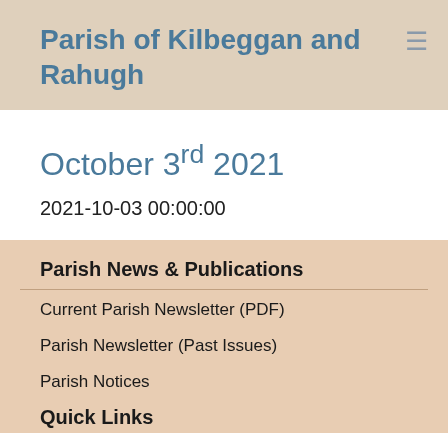Parish of Kilbeggan and Rahugh
October 3rd 2021
2021-10-03 00:00:00
Parish News & Publications
Current Parish Newsletter (PDF)
Parish Newsletter (Past Issues)
Parish Notices
Quick Links